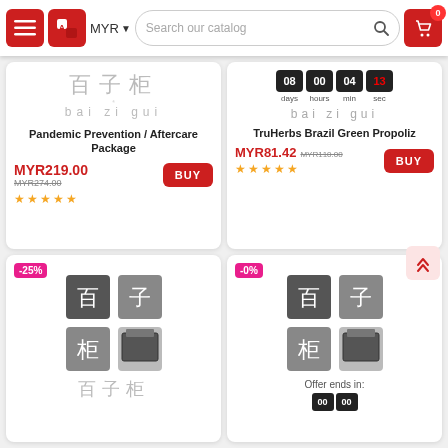MYR | Search our catalog | Cart (0)
[Figure (logo): Bai Zi Gui logo with Chinese characters and latin text, product card 1: Pandemic Prevention / Aftercare Package]
Pandemic Prevention / Aftercare Package
MYR219.00 MYR274.00 BUY ★★★★★
[Figure (screenshot): Countdown timer showing days/hours/min/sec with Bai Zi Gui branding, product: TruHerbs Brazil Green Propoliz]
TruHerbs Brazil Green Propoliz
MYR81.42 MYR110.00 BUY ★★★★★
[Figure (logo): Bai Zi Gui logo grid icon, -25% discount badge, bottom card]
[Figure (logo): Bai Zi Gui logo grid icon, -0% discount badge, Offer ends in countdown]